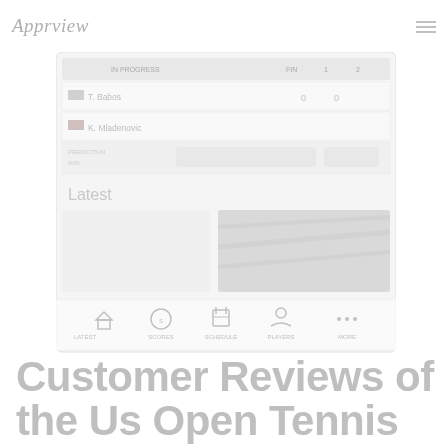Apprview
[Figure (screenshot): Screenshot of a tennis app showing a match scoreboard with T. Babos and K. Mladenovic, with scores 0-0, a 'Latest' section header, thumbnail images of tennis content, and a bottom navigation bar with Home, Scores, Schedule, Players, More icons.]
Customer Reviews of the Us Open Tennis Championships App